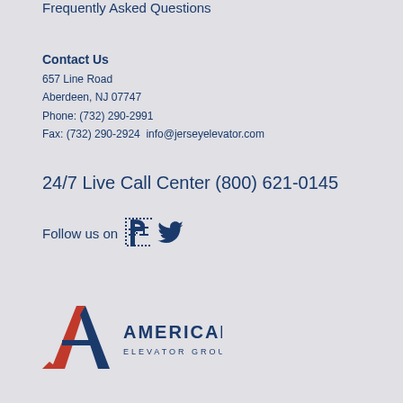Frequently Asked Questions
Contact Us
657 Line Road
Aberdeen, NJ 07747
Phone: (732) 290-2991
Fax: (732) 290-2924  info@jerseyelevator.com
24/7 Live Call Center (800) 621-0145
Follow us on
[Figure (logo): American Elevator Group logo with a red and navy A-shaped letter mark and text 'AMERICAN ELEVATOR GROUP']